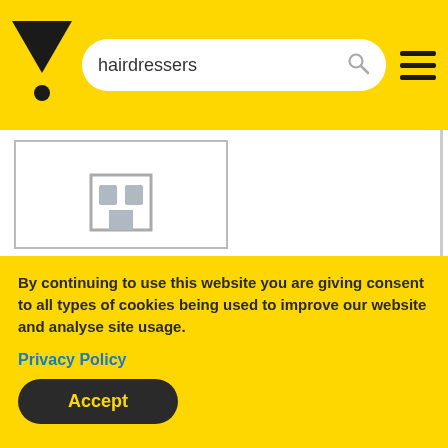[Figure (logo): Yellow Pages / Yell logo — stylized black V with a dot below]
hairdressers
[Figure (screenshot): Placeholder building icon in grey]
OBSESSIONS UNISEX
hairdressers - ladies &/or uni...
011849 ...Show Number
78 4 S ...Show Location
By continuing to use this website you are giving consent to all types of cookies being used to improve our website and analyse site usage.
Privacy Policy
Accept